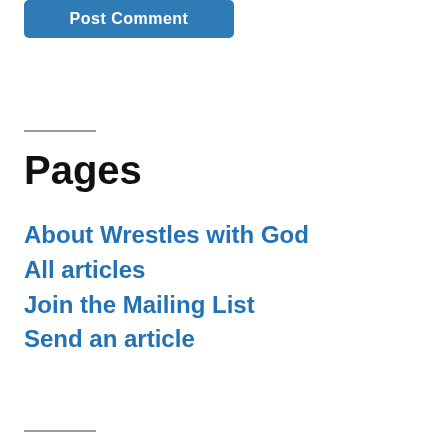[Figure (other): Blue rounded button labeled 'Post Comment']
Pages
About Wrestles with God
All articles
Join the Mailing List
Send an article